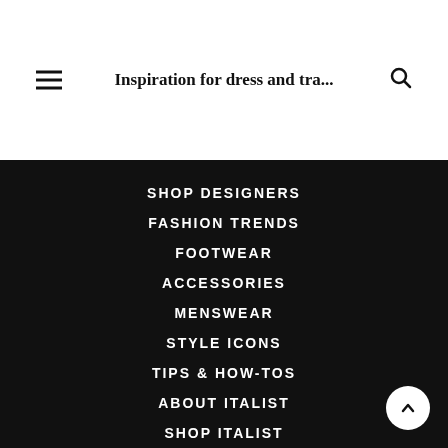Inspiration for dress and tra...
SHOP DESIGNERS
FASHION TRENDS
FOOTWEAR
ACCESSORIES
MENSWEAR
STYLE ICONS
TIPS & HOW-TOS
ABOUT ITALIST
SHOP ITALIST
[Figure (other): Social media icons: Facebook, Pinterest, Twitter, Instagram]